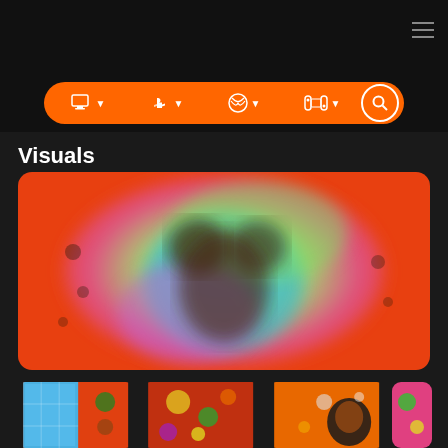[Figure (screenshot): Dark website navigation header with hamburger menu icon on top right]
[Figure (screenshot): Orange navigation bar with platform icons: monitor (PC), PlayStation, Xbox, Nintendo Switch, and a search button]
Visuals
[Figure (photo): Large blurred colorful game screenshot on orange/red background showing a character with teal and green hues]
[Figure (screenshot): Four thumbnail game images at the bottom showing puzzle/arcade style game screenshots]